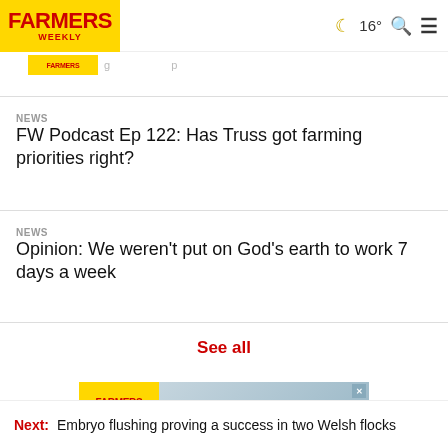FARMERS WEEKLY | 16° | search | menu
(cropped banner text)
NEWS
FW Podcast Ep 122: Has Truss got farming priorities right?
NEWS
Opinion: We weren't put on God's earth to work 7 days a week
See all
[Figure (other): Farmers Weekly advertisement banner partially visible]
Next: Embryo flushing proving a success in two Welsh flocks